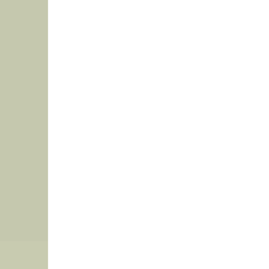By 800AMSOIL40 in forum
FS for sale carbon fiber r
By petroracing.kitins in forum
FS R Pot Carbon Fiber R
By tmg97gp in forum Yamaha
FS carbon fiber ride plate
By hybridGPR in forum Yama
R-Pot Carbon Fiber Ride
By IrishGpr05 in forum Yamal
---- Lite GreenHulk    G Select Language ▼    Contact
All times are GMT -5. The time now is 03:2
Powered by vBulletin® Copyright ©